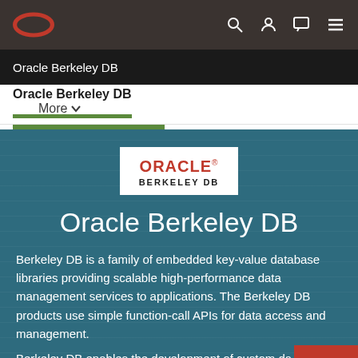[Figure (screenshot): Oracle website navigation bar with Oracle logo (red oval) on the left and icons (search, user, chat, menu) on the right on a dark brown background]
Oracle Berkeley DB
Oracle Berkeley DB   More
[Figure (logo): Oracle Berkeley DB product logo: white box with red ORACLE text and black BERKELEY DB text below]
Oracle Berkeley DB
Berkeley DB is a family of embedded key-value database libraries providing scalable high-performance data management services to applications. The Berkeley DB products use simple function-call APIs for data access and management.
Berkeley DB enables the development of custom da...